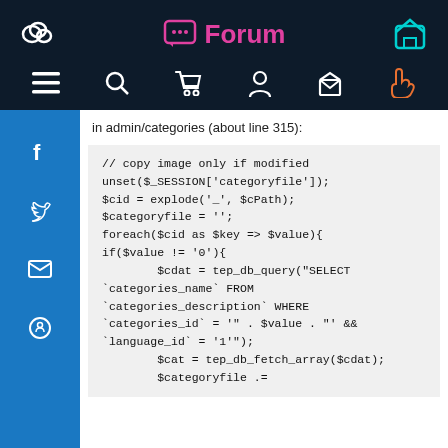Forum
in admin/categories (about line 315):
[Figure (screenshot): Code block showing PHP code snippet with copy image logic, unset session, explode, foreach loop, and tep_db_query SELECT statement]